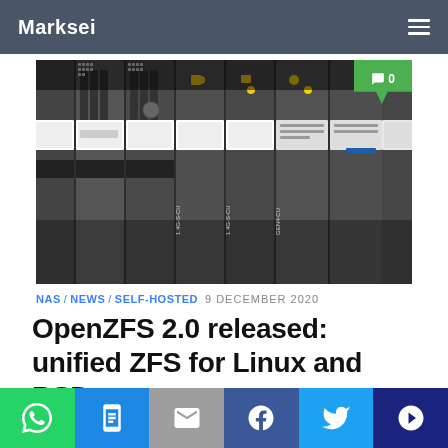Marksei
[Figure (photo): Close-up photograph of multiple hard disk drives in a server chassis, showing drive bays with labels and LED indicators. Some drives have yellow warning lights visible.]
NAS / NEWS / SELF-HOSTED  9 DECEMBER 2020
OpenZFS 2.0 released: unified ZFS for Linux and BSD